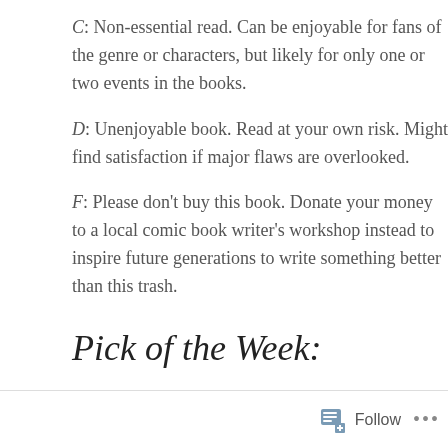C: Non-essential read. Can be enjoyable for fans of the genre or characters, but likely for only one or two events in the books.
D: Unenjoyable book. Read at your own risk. Might find satisfaction if major flaws are overlooked.
F: Please don't buy this book. Donate your money to a local comic book writer's workshop instead to inspire future generations to write something better than this trash.
Pick of the Week:
Follow ...